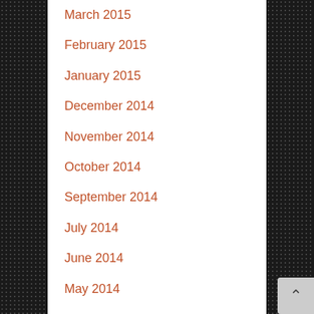March 2015
February 2015
January 2015
December 2014
November 2014
October 2014
September 2014
July 2014
June 2014
May 2014
March 2014
February 2013
December 2012